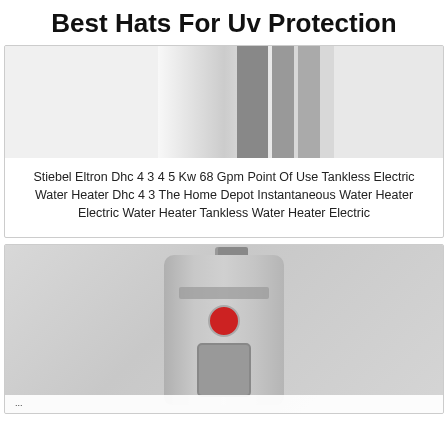Best Hats For Uv Protection
[Figure (photo): Tankless electric water heater unit, white/silver with dark vertical stripes, partial view cropped at top]
Stiebel Eltron Dhc 4 3 4 5 Kw 68 Gpm Point Of Use Tankless Electric Water Heater Dhc 4 3 The Home Depot Instantaneous Water Heater Electric Water Heater Tankless Water Heater Electric
[Figure (photo): Rheem electric water heater tank, gray/silver cylindrical unit with red Rheem logo and digital control panel, on gray background]
Partial text visible at bottom of page